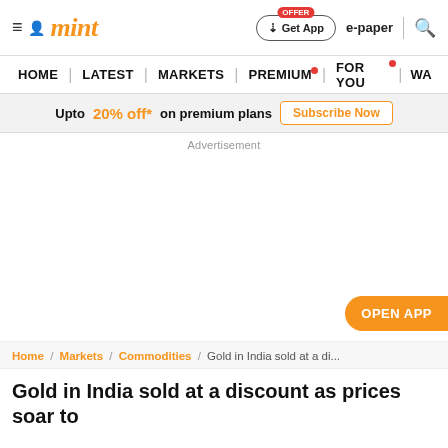mint — Get App | e-paper | Search
HOME | LATEST | MARKETS | PREMIUM | FOR YOU | WA
Upto 20% off* on premium plans  Subscribe Now
Advertisement
OPEN APP
Home / Markets / Commodities / Gold in India sold at a di...
Gold in India sold at a discount as prices soar to